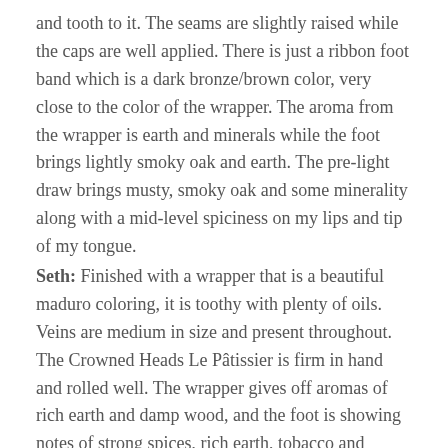and tooth to it. The seams are slightly raised while the caps are well applied. There is just a ribbon foot band which is a dark bronze/brown color, very close to the color of the wrapper. The aroma from the wrapper is earth and minerals while the foot brings lightly smoky oak and earth. The pre-light draw brings musty, smoky oak and some minerality along with a mid-level spiciness on my lips and tip of my tongue.
Seth: Finished with a wrapper that is a beautiful maduro coloring, it is toothy with plenty of oils. Veins are medium in size and present throughout. The Crowned Heads Le Pâtissier is firm in hand and rolled well. The wrapper gives off aromas of rich earth and damp wood, and the foot is showing notes of strong spices, rich earth, tobacco and barnyard qualities.
John: The Crowned Heads Le Pâtissier comes in cellophane, and has a UPC sticker that tears in half when the cellophane...